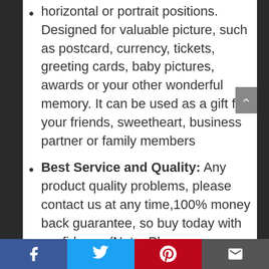horizontal or portrait positions. Designed for valuable picture, such as postcard, currency, tickets, greeting cards, baby pictures, awards or your other wonderful memory. It can be used as a gift for your friends, sweetheart, business partner or family members
Best Service and Quality: Any product quality problems, please contact us at any time,100% money back guarantee, so buy today with confidence (Note: Please remove four sides protect plastic film before use product, never will
Facebook | Twitter | Pinterest | Email